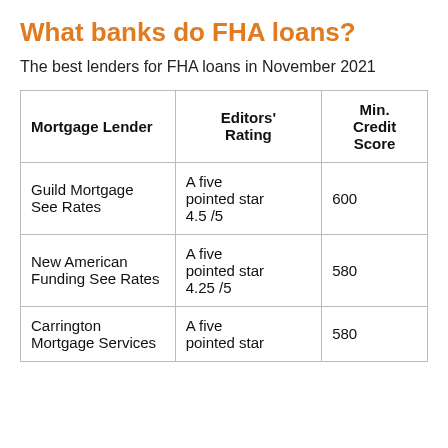What banks do FHA loans?
The best lenders for FHA loans in November 2021
| Mortgage Lender | Editors' Rating | Min. Credit Score |
| --- | --- | --- |
| Guild Mortgage See Rates | A five pointed star 4.5 /5 | 600 |
| New American Funding See Rates | A five pointed star 4.25 /5 | 580 |
| Carrington Mortgage Services | A five pointed star | 580 |